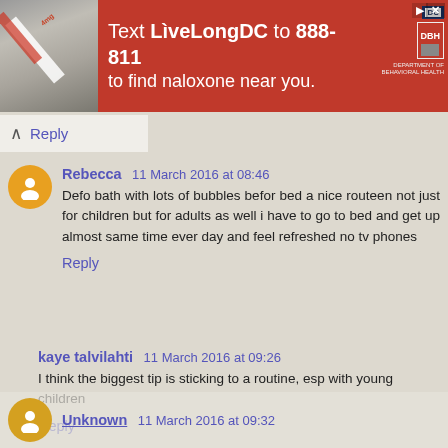[Figure (infographic): Red advertisement banner: 'Text LiveLongDC to 888-811 to find naloxone near you.' with DC and DBH logos on right and a medical image on left.]
Reply
Rebecca  11 March 2016 at 08:46
Defo bath with lots of bubbles befor bed a nice routeen not just for children but for adults as well i have to go to bed and get up almost same time ever day and feel refreshed no tv phones
Reply
kaye talvilahti  11 March 2016 at 09:26
I think the biggest tip is sticking to a routine, esp with young children
Reply
Unknown  11 March 2016 at 09:32